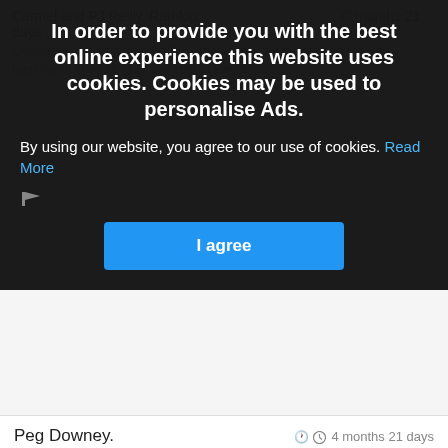In order to provide you with the best online experience this website uses cookies. Cookies may be used to personalise Ads.
By using our website, you agree to our use of cookies. Read More
Peg Downey.
4 months 21 days
My deepest sympathy to Marion's family on her passing

May she rest in peace. Amen
Siobhán Ferguson
4 months 21 days
Deepest sympathy to Mary Carmel and all the Casey family. I am so sorry for your loss. You are all in my thoughts and prayers. Xx